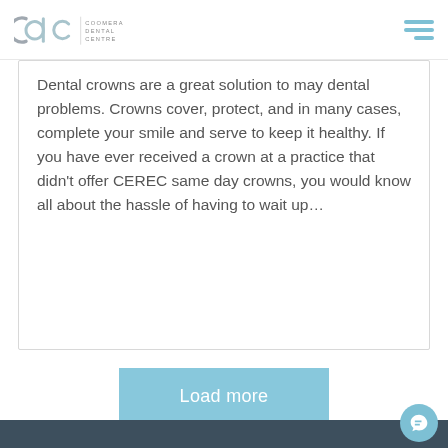Coomera Dental Centre
Dental crowns are a great solution to may dental problems. Crowns cover, protect, and in many cases, complete your smile and serve to keep it healthy. If you have ever received a crown at a practice that didn't offer CEREC same day crowns, you would know all about the hassle of having to wait up…
Load more